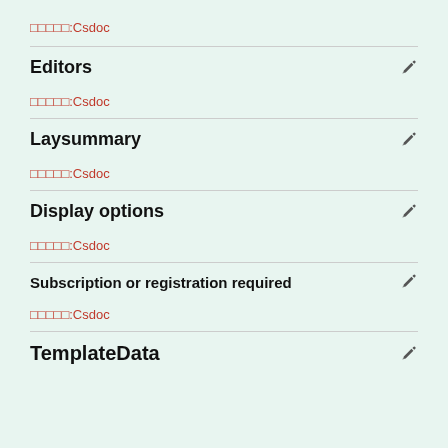□□□□□:Csdoc
Editors
□□□□□:Csdoc
Laysummary
□□□□□:Csdoc
Display options
□□□□□:Csdoc
Subscription or registration required
□□□□□:Csdoc
TemplateData